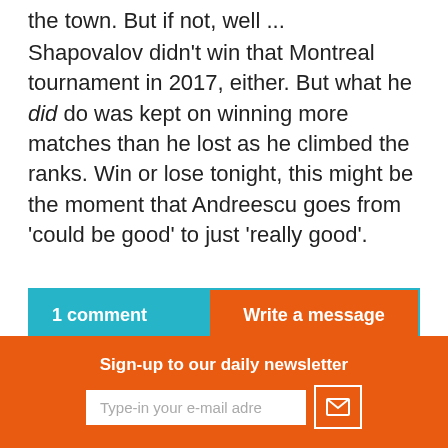the town. But if not, well ...
Shapovalov didn't win that Montreal tournament in 2017, either. But what he did do was kept on winning more matches than he lost as he climbed the ranks. Win or lose tonight, this might be the moment that Andreescu goes from 'could be good' to just 'really good'.
1 comment
Write a message
TELL US WHAT YOU THINK
Sign-up to our daily newsletter
Type-in your e-mail adre